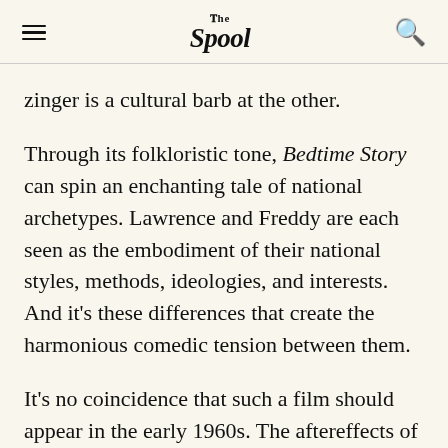The Spool
zinger is a cultural barb at the other.
Through its folkloristic tone, Bedtime Story can spin an enchanting tale of national archetypes. Lawrence and Freddy are each seen as the embodiment of their national styles, methods, ideologies, and interests. And it's these differences that create the harmonious comedic tension between them.
It's no coincidence that such a film should appear in the early 1960s. The aftereffects of World War II had started to petrify and it was clear that the geopolitical stage was set for